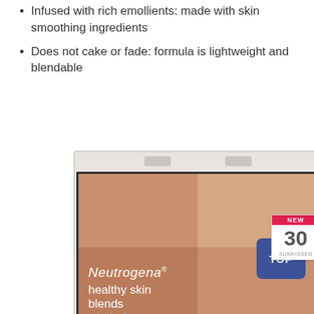Infused with rich emollients: made with skin smoothing ingredients
Does not cake or fade: formula is lightweight and blendable
[Figure (photo): Neutrogena Healthy Skin Blends natural radiance bronzer compact, shade 30 Sunkissed, open compact showing four-quadrant powder in warm terra-cotta tones with brand name and product details in white text]
TOP